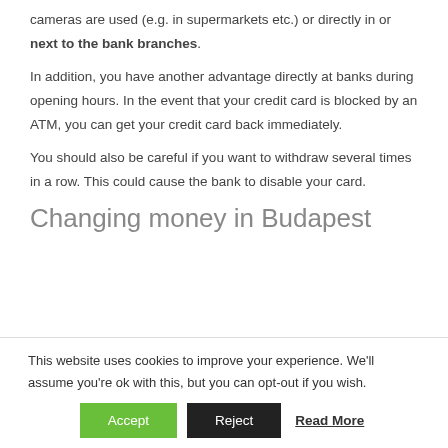cameras are used (e.g. in supermarkets etc.) or directly in or next to the bank branches.
In addition, you have another advantage directly at banks during opening hours. In the event that your credit card is blocked by an ATM, you can get your credit card back immediately.
You should also be careful if you want to withdraw several times in a row. This could cause the bank to disable your card.
Changing money in Budapest
This website uses cookies to improve your experience. We'll assume you're ok with this, but you can opt-out if you wish.